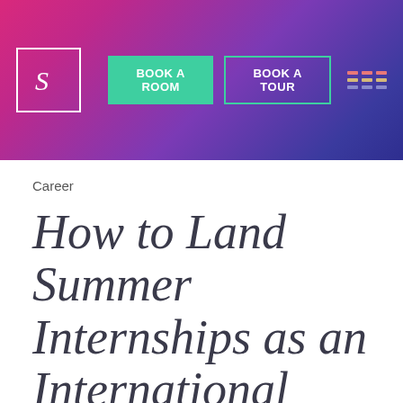BOOK A ROOM  BOOK A TOUR
Career
How to Land Summer Internships as an International Student